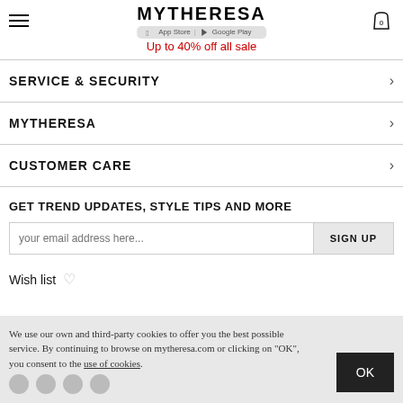MYTHERESA
Up to 40% off all sale
SERVICE & SECURITY
MYTHERESA
CUSTOMER CARE
GET TREND UPDATES, STYLE TIPS AND MORE
your email address here...
SIGN UP
Wish list
We use our own and third-party cookies to offer you the best possible service. By continuing to browse on mytheresa.com or clicking on "OK", you consent to the use of cookies.